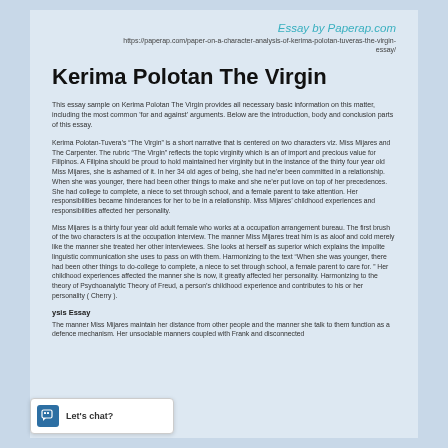Essay by Paperap.com
https://paperap.com/paper-on-a-character-analysis-of-kerima-polotan-tuveras-the-virgin-essay/
Kerima Polotan The Virgin
This essay sample on Kerima Polotan The Virgin provides all necessary basic information on this matter, including the most common 'for and against' arguments. Below are the introduction, body and conclusion parts of this essay.
Kerima Polotan-Tuvera’s “The Virgin” is a short narrative that is centered on two characters viz. Miss Mijares and The Carpenter. The rubric “The Virgin” reflects the topic virginity which is an of import and precious value for Filipinos. A Filipina should be proud to hold maintained her virginity but in the instance of the thirty four year old Miss Mijares, she is ashamed of it. In her 34 old ages of being, she had ne’er been committed in a relationship. When she was younger, there had been other things to make and she ne’er put love on top of her precedences. She had college to complete, a niece to set through school, and a female parent to take attention. Her responsibilities became hinderances for her to be in a relationship. Miss Mijares’ childhood experiences and responsibilities affected her personality.
Miss Mijares is a thirty four year old adult female who works at a occupation arrangement bureau. The first brush of the two characters is at the occupation interview. The manner Miss Mijares treat him is as aloof and cold merely like the manner she treated her other interviewees. She looks at herself as superior which explains the impolite linguistic communication she uses to pass on with them. Harmonizing to the text “When she was younger, there had been other things to do-college to complete, a niece to set through school, a female parent to care for. ” Her childhood experiences affected the manner she is now, it greatly affected her personality. Harmonizing to the theory of Psychoanalytic Theory of Freud, a person’s childhood experience and contributes to his or her personality ( Cherry ).
ysis Essay
The manner Miss Mijares maintain her distance from other people and the manner she talk to them function as a defence mechanism. Her unsociable manners coupled with Frank and disconnected